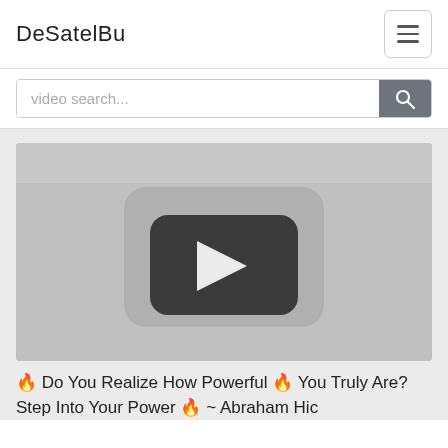DeSatelBu
video search...
[Figure (screenshot): Video thumbnail showing a YouTube-style play button on a gray background]
🔥 Do You Realize How Powerful 🔥 You Truly Are? Step Into Your Power 🔥 ~ Abraham Hic